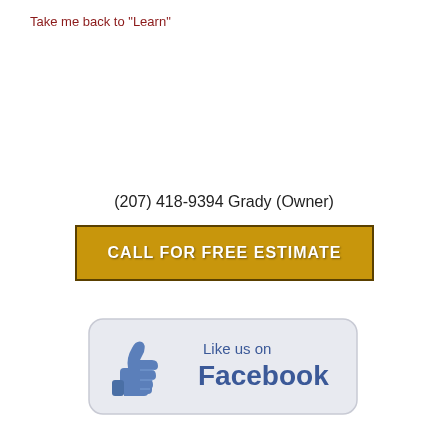Take me back to "Learn"
(207) 418-9394 Grady (Owner)
[Figure (other): Gold call-to-action button with white bold text reading CALL FOR FREE ESTIMATE, dark border]
[Figure (other): Like us on Facebook badge with Facebook thumbs-up icon on light grey rounded rectangle background]